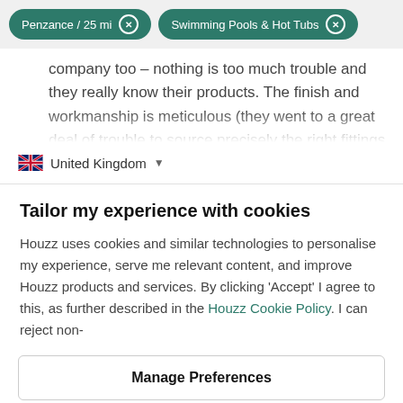Penzance / 25 mi  ×    Swimming Pools & Hot Tubs  ×
company too – nothing is too much trouble and they really know their products. The finish and workmanship is meticulous (they went to a great deal of trouble to source precisely the right fittings
🇬🇧 United Kingdom ▾
Tailor my experience with cookies
Houzz uses cookies and similar technologies to personalise my experience, serve me relevant content, and improve Houzz products and services. By clicking 'Accept' I agree to this, as further described in the Houzz Cookie Policy. I can reject non-
Manage Preferences
Accept